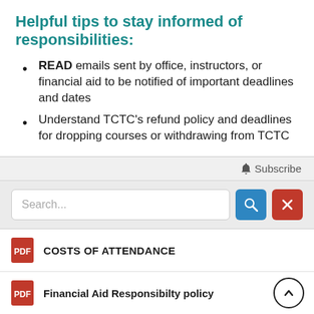Helpful tips to stay informed of responsibilities:
READ emails sent by office, instructors, or financial aid to be notified of important deadlines and dates
Understand TCTC's refund policy and deadlines for dropping courses or withdrawing from TCTC
[Figure (screenshot): A UI widget showing a Subscribe button, a Search bar with a blue search button and red clear button, and two PDF document links: COSTS OF ATTENDANCE and Financial Aid Responsibilty policy, with an up-arrow scroll button.]